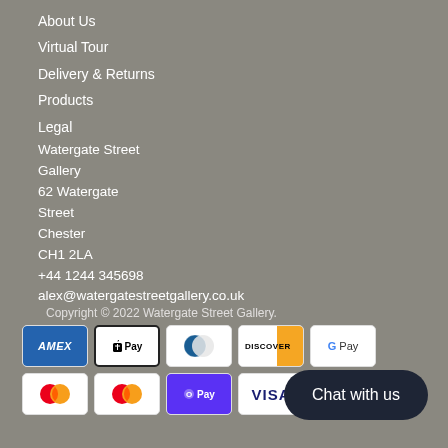About Us
Virtual Tour
Delivery & Returns
Products
Legal
Watergate Street Gallery
62 Watergate Street
Chester
CH1 2LA
+44 1244 345698
alex@watergatestreetgallery.co.uk
Copyright © 2022 Watergate Street Gallery.
[Figure (other): Payment method icons: AMEX, Apple Pay, Diners Club, Discover, Google Pay, Mastercard, Mastercard, Shop Pay/O Pay, Visa]
Chat with us